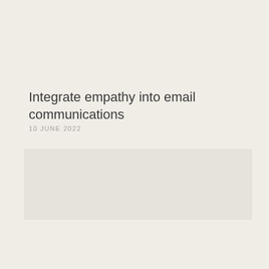Integrate empathy into email communications
10 JUNE 2022